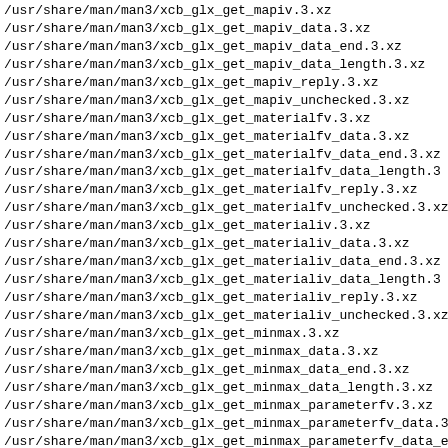/usr/share/man/man3/xcb_glx_get_mapiv.3.xz
/usr/share/man/man3/xcb_glx_get_mapiv_data.3.xz
/usr/share/man/man3/xcb_glx_get_mapiv_data_end.3.xz
/usr/share/man/man3/xcb_glx_get_mapiv_data_length.3.xz
/usr/share/man/man3/xcb_glx_get_mapiv_reply.3.xz
/usr/share/man/man3/xcb_glx_get_mapiv_unchecked.3.xz
/usr/share/man/man3/xcb_glx_get_materialfv.3.xz
/usr/share/man/man3/xcb_glx_get_materialfv_data.3.xz
/usr/share/man/man3/xcb_glx_get_materialfv_data_end.3.xz
/usr/share/man/man3/xcb_glx_get_materialfv_data_length.3
/usr/share/man/man3/xcb_glx_get_materialfv_reply.3.xz
/usr/share/man/man3/xcb_glx_get_materialfv_unchecked.3.xz
/usr/share/man/man3/xcb_glx_get_materialiv.3.xz
/usr/share/man/man3/xcb_glx_get_materialiv_data.3.xz
/usr/share/man/man3/xcb_glx_get_materialiv_data_end.3.xz
/usr/share/man/man3/xcb_glx_get_materialiv_data_length.3
/usr/share/man/man3/xcb_glx_get_materialiv_reply.3.xz
/usr/share/man/man3/xcb_glx_get_materialiv_unchecked.3.xz
/usr/share/man/man3/xcb_glx_get_minmax.3.xz
/usr/share/man/man3/xcb_glx_get_minmax_data.3.xz
/usr/share/man/man3/xcb_glx_get_minmax_data_end.3.xz
/usr/share/man/man3/xcb_glx_get_minmax_data_length.3.xz
/usr/share/man/man3/xcb_glx_get_minmax_parameterfv.3.xz
/usr/share/man/man3/xcb_glx_get_minmax_parameterfv_data.3
/usr/share/man/man3/xcb_glx_get_minmax_parameterfv_data_e
/usr/share/man/man3/xcb_glx_get_minmax_parameterfv_data_l
/usr/share/man/man3/xcb_glx_get_minmax_parameterfv_reply
/usr/share/man/man3/xcb_glx_get_minmax_parameterfv_unched
/usr/share/man/man3/xcb_glx_get_minmax_parameteriv.3.xz
/usr/share/man/man3/xcb_glx_get_minmax_parameteriv_data.3
/usr/share/man/man3/xcb_glx_get_minmax_parameteriv_data_